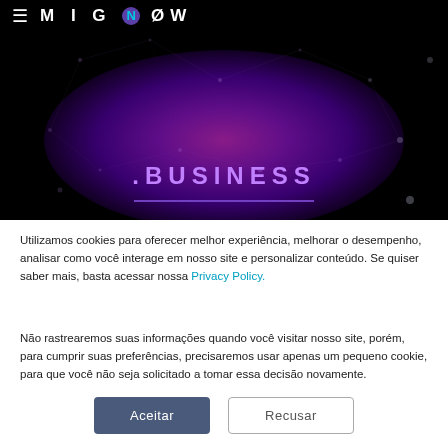MIGNOW
[Figure (illustration): Dark hero banner with purple/magenta radial glow globe with network nodes and lines, showing .BUSINESS text centered with underline]
.BUSINESS
Utilizamos cookies para oferecer melhor experiência, melhorar o desempenho, analisar como você interage em nosso site e personalizar conteúdo. Se quiser saber mais, basta acessar nossa Privacy Policy.
Não rastrearemos suas informações quando você visitar nosso site, porém, para cumprir suas preferências, precisaremos usar apenas um pequeno cookie, para que você não seja solicitado a tomar essa decisão novamente.